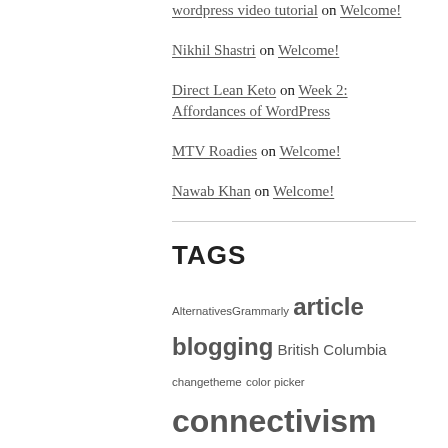wordpress video tutorial on Welcome!
Nikhil Shastri on Welcome!
Direct Lean Keto on Week 2: Affordances of WordPress
MTV Roadies on Welcome!
Nawab Khan on Welcome!
TAGS
AlternativesGrammarly article blogging British Columbia changetheme color picker connectivism contact form 7 design e-commerce Feedburner free tools Grammarly GrammarlyAlternatives How to Create a Blog How to create a blog on WordPress How to Make a Blog How to Start a Blog hybrid pedagogy learning Library LMS OER Open Education Orientation P2 RSS